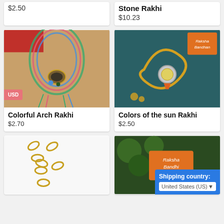$2.50
Stone Rakhi
$10.23
[Figure (photo): Colorful Arch Rakhi product photo showing a decorative rakhi with multicolored threads on a brown background]
USD
Colorful Arch Rakhi
$2.70
[Figure (photo): Colors of the sun Rakhi product photo showing a rakhi with yellow cord on teal background with orange label]
Colors of the sun Rakhi
$2.50
[Figure (photo): Gold chain rakhi product photo on white background]
[Figure (photo): Raksha Bandhan product photo with orange label reading Raksha Bandhi]
Shipping country:
United States (US)